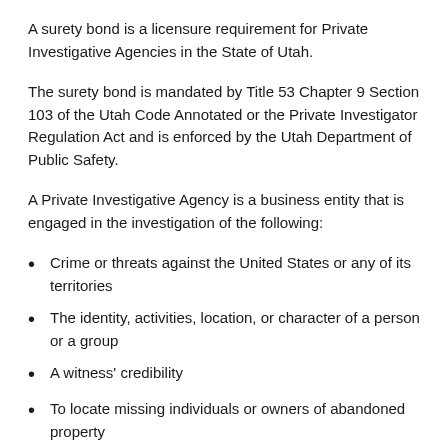A surety bond is a licensure requirement for Private Investigative Agencies in the State of Utah.
The surety bond is mandated by Title 53 Chapter 9 Section 103 of the Utah Code Annotated or the Private Investigator Regulation Act and is enforced by the Utah Department of Public Safety.
A Private Investigative Agency is a business entity that is engaged in the investigation of the following:
Crime or threats against the United States or any of its territories
The identity, activities, location, or character of a person or a group
A witness' credibility
To locate missing individuals or owners of abandoned property
The causes of a fire or any damage to real or personal